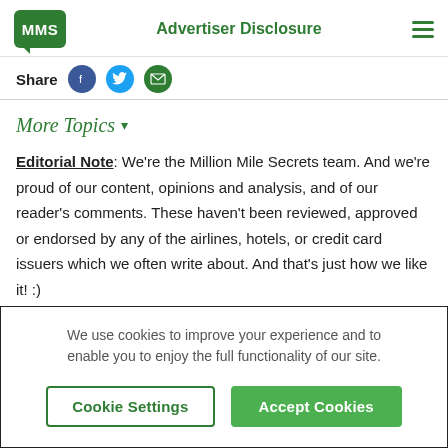MMS | Advertiser Disclosure
Share
More Topics
Editorial Note: We're the Million Mile Secrets team. And we're proud of our content, opinions and analysis, and of our reader's comments. These haven't been reviewed, approved or endorsed by any of the airlines, hotels, or credit card issuers which we often write about. And that's just how we like it! :)
We use cookies to improve your experience and to enable you to enjoy the full functionality of our site.
Cookie Settings | Accept Cookies